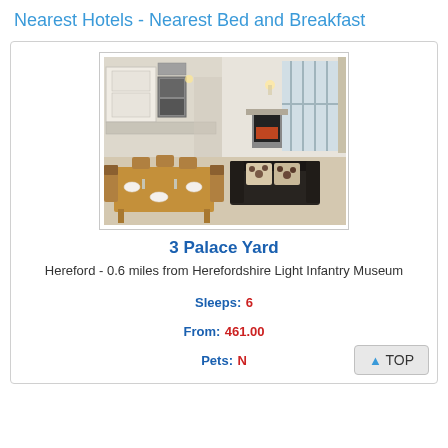Nearest Hotels - Nearest Bed and Breakfast
[Figure (photo): Interior photo of a bright apartment showing a wooden dining table with chairs set for dining on the left, and a living area with a dark leather sofa with spotted cushions and a fireplace on the right, large windows letting in natural light.]
3 Palace Yard
Hereford - 0.6 miles from Herefordshire Light Infantry Museum
Sleeps: 6
From: 461.00
Pets: N